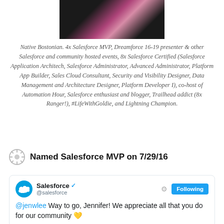[Figure (photo): Partial photo cropped at top, dark background with pink/white figure silhouette]
Native Bostonian. 4x Salesforce MVP, Dreamforce 16-19 presenter & other Salesforce and community hosted events, 8x Salesforce Certified (Salesforce Application Architech, Salesforce Administrator, Advanced Administrator, Platform App Builder, Sales Cloud Consultant, Security and Visibility Designer, Data Management and Architecture Designer, Platform Developer I), co-host of Automation Hour, Salesforce enthusiast and blogger, Trailhead addict (8x Ranger!), #LifeWithGoldie, and Lightning Champion.
Named Salesforce MVP on 7/29/16
[Figure (screenshot): Tweet from @salesforce (Salesforce verified account) saying '@jenwlee Way to go, Jennifer! We appreciate all that you do for our community' with a gold heart emoji. Has Following button and gear icon.]